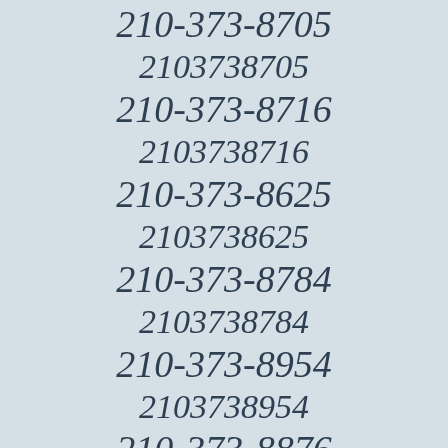210-373-8705
2103738705
210-373-8716
2103738716
210-373-8625
2103738625
210-373-8784
2103738784
210-373-8954
2103738954
210-373-8876
2103738876
210-373-8274
2103738274
210-373-8391
2103738391